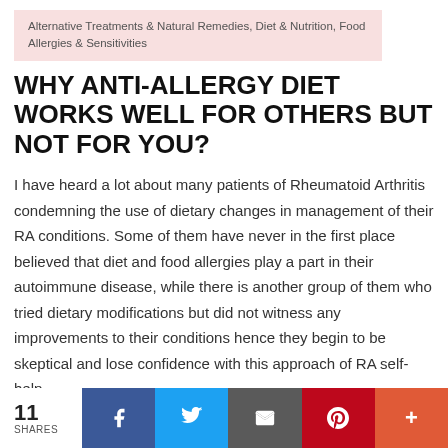Alternative Treatments & Natural Remedies, Diet & Nutrition, Food Allergies & Sensitivities
WHY ANTI-ALLERGY DIET WORKS WELL FOR OTHERS BUT NOT FOR YOU?
I have heard a lot about many patients of Rheumatoid Arthritis condemning the use of dietary changes in management of their RA conditions. Some of them have never in the first place believed that diet and food allergies play a part in their autoimmune disease, while there is another group of them who tried dietary modifications but did not witness any improvements to their conditions hence they begin to be skeptical and lose confidence with this approach of RA self-help.
So, what could have been the reasons why restrictive diet is
11 SHARES